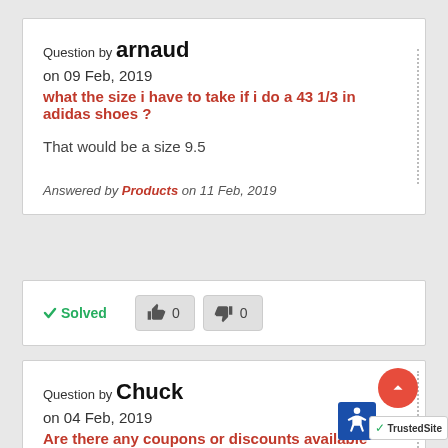Question by arnaud
on 09 Feb, 2019
what the size i have to take if i do a 43 1/3 in adidas shoes ?
That would be a size 9.5
Answered by Products on 11 Feb, 2019
✓ Solved  👍 0  👎 0
Question by Chuck
on 04 Feb, 2019
Are there any coupons or discounts available